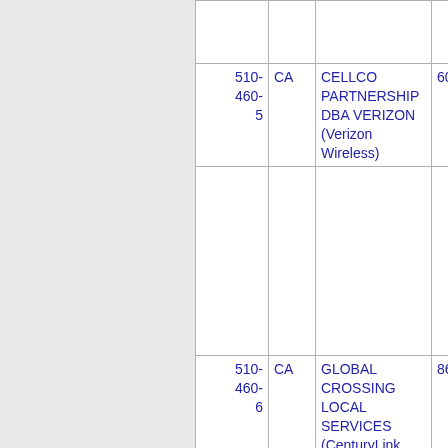| Number | State | Company Name | Code |
| --- | --- | --- | --- |
| 510-460-5 | CA | CELLCO PARTNERSHIP DBA VERIZON (Verizon Wireless) | 6006 |
| 510-460-6 | CA | GLOBAL CROSSING LOCAL SERVICES (CenturyLink, Inc) | 8690 |